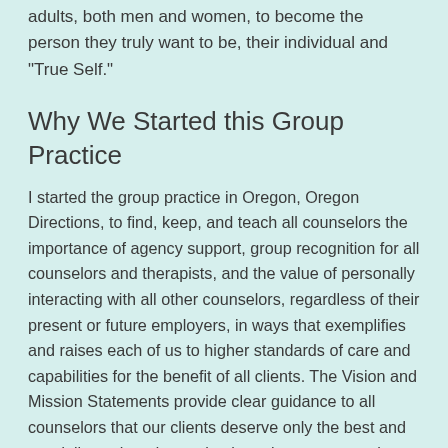adults, both men and women, to become the person they truly want to be, their individual and "True Self."
Why We Started this Group Practice
I started the group practice in Oregon, Oregon Directions, to find, keep, and teach all counselors the importance of agency support, group recognition for all counselors and therapists, and the value of personally interacting with all other counselors, regardless of their present or future employers, in ways that exemplifies and raises each of us to higher standards of care and capabilities for the benefit of all clients. The Vision and Mission Statements provide clear guidance to all counselors that our clients deserve only the best and our daily work and on-going intentions are to work together to achieve that goal.